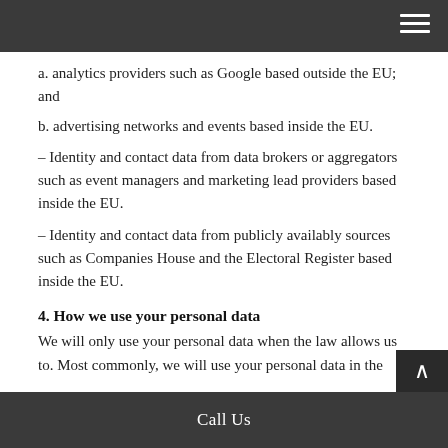a. analytics providers such as Google based outside the EU; and
b. advertising networks and events based inside the EU.
– Identity and contact data from data brokers or aggregators such as event managers and marketing lead providers based inside the EU.
– Identity and contact data from publicly availably sources such as Companies House and the Electoral Register based inside the EU.
4. How we use your personal data
We will only use your personal data when the law allows us to. Most commonly, we will use your personal data in the
Call Us